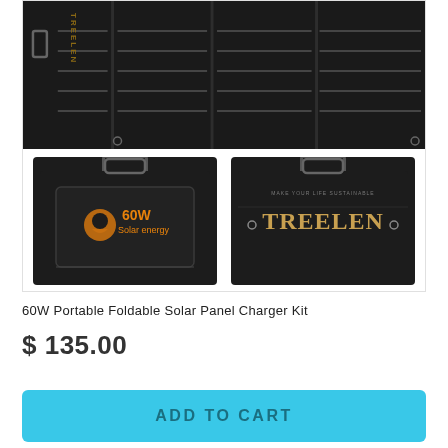[Figure (photo): Product images of TREELEN 60W Portable Foldable Solar Panel Charger Kit showing the unfolded solar panels on top and two views of the folded case (front with 60W Solar energy branding and back with TREELEN logo) below.]
60W Portable Foldable Solar Panel Charger Kit
$ 135.00
ADD TO CART